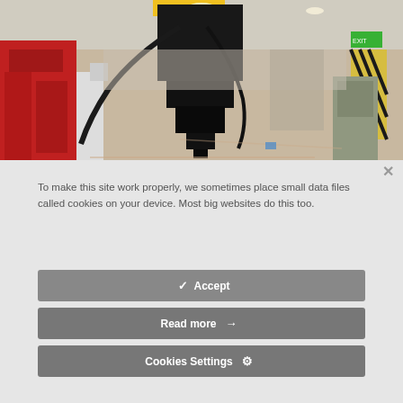[Figure (photo): Industrial factory floor showing a large black robotic or mechanical device/tool-head suspended by cables, positioned centrally in the frame. Background shows red machinery on the left, warehouse infrastructure, and industrial equipment throughout a large factory hall with high ceilings.]
To make this site work properly, we sometimes place small data files called cookies on your device. Most big websites do this too.
✓  Accept
Read more  →
Cookies Settings  ⚙